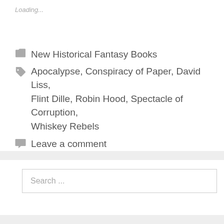Loading...
New Historical Fantasy Books
Apocalypse, Conspiracy of Paper, David Liss, Flint Dille, Robin Hood, Spectacle of Corruption, Whiskey Rebels
Leave a comment
Search ...